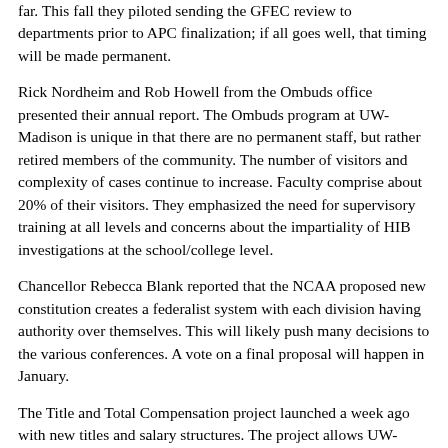far. This fall they piloted sending the GFEC review to departments prior to APC finalization; if all goes well, that timing will be made permanent.
Rick Nordheim and Rob Howell from the Ombuds office presented their annual report. The Ombuds program at UW-Madison is unique in that there are no permanent staff, but rather retired members of the community. The number of visitors and complexity of cases continue to increase. Faculty comprise about 20% of their visitors. They emphasized the need for supervisory training at all levels and concerns about the impartiality of HIB investigations at the school/college level.
Chancellor Rebecca Blank reported that the NCAA proposed new constitution creates a federalist system with each division having authority over themselves. This will likely push many decisions to the various conferences. A vote on a final proposal will happen in January.
The Title and Total Compensation project launched a week ago with new titles and salary structures. The project allows UW-Madison to benchmark staff against peers and others, and bring groups under the market up to the market.
Sandgren moved to convene in closed session; it was seconded and approved at 2:46.